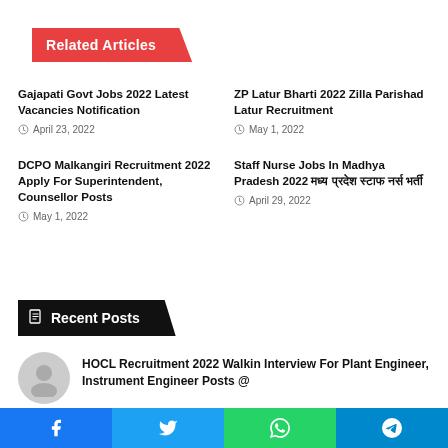Related Articles
Gajapati Govt Jobs 2022 Latest Vacancies Notification
April 23, 2022
ZP Latur Bharti 2022 Zilla Parishad Latur Recruitment
May 1, 2022
DCPO Malkangiri Recruitment 2022 Apply For Superintendent, Counsellor Posts
May 1, 2022
Staff Nurse Jobs In Madhya Pradesh 2022 मध्य प्रदेश स्टाफ नर्स भर्ती
April 29, 2022
Recent Posts
HOCL Recruitment 2022 Walkin Interview For Plant Engineer, Instrument Engineer Posts @